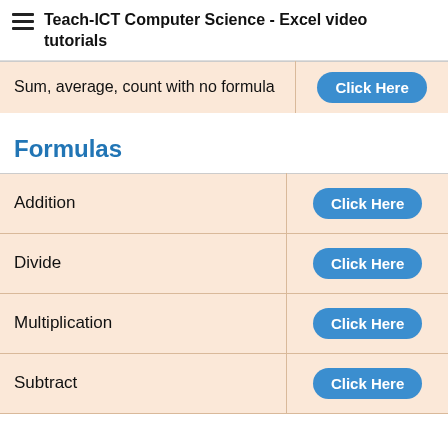Teach-ICT Computer Science - Excel video tutorials
| Sum, average, count with no formula | Click Here |
Formulas
| Addition | Click Here |
| Divide | Click Here |
| Multiplication | Click Here |
| Subtract | Click Here |